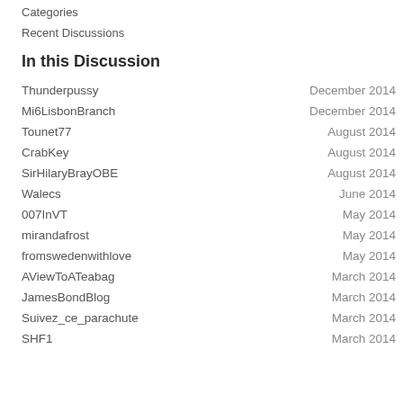Categories
Recent Discussions
In this Discussion
Thunderpussy — December 2014
Mi6LisbonBranch — December 2014
Tounet77 — August 2014
CrabKey — August 2014
SirHilaryBrayOBE — August 2014
Walecs — June 2014
007InVT — May 2014
mirandafrost — May 2014
fromswedenwithlove — May 2014
AViewToATeabag — March 2014
JamesBondBlog — March 2014
Suivez_ce_parachute — March 2014
SHF1 — March 2014